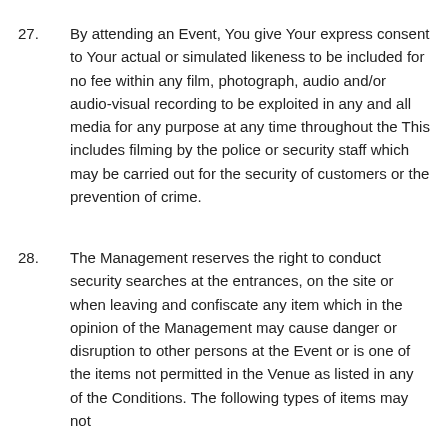27. By attending an Event, You give Your express consent to Your actual or simulated likeness to be included for no fee within any film, photograph, audio and/or audio-visual recording to be exploited in any and all media for any purpose at any time throughout the This includes filming by the police or security staff which may be carried out for the security of customers or the prevention of crime.
28. The Management reserves the right to conduct security searches at the entrances, on the site or when leaving and confiscate any item which in the opinion of the Management may cause danger or disruption to other persons at the Event or is one of the items not permitted in the Venue as listed in any of the Conditions. The following types of items may not